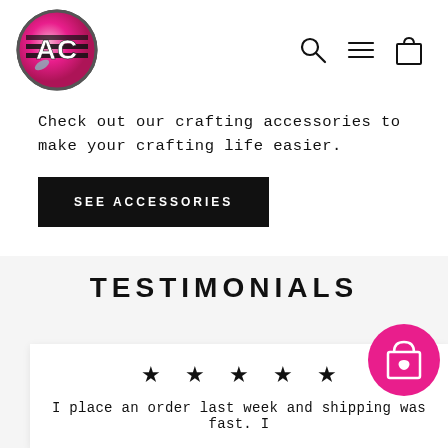[Figure (logo): Circular logo with pink marble background and stylized 'AC' letters with black stripes]
[Figure (illustration): Navigation icons: magnifying glass (search), hamburger menu, shopping bag]
Check out our crafting accessories to make your crafting life easier.
SEE ACCESSORIES
TESTIMONIALS
★ ★ ★ ★ ★
I place an order last week and shipping was fast. I
[Figure (illustration): Pink circular button with shopping bag and heart icon]